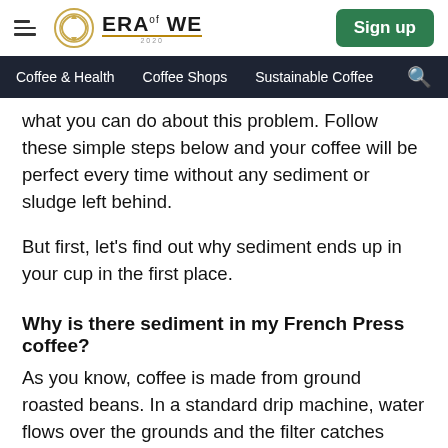ERA of WE — Sign up
Coffee & Health   Coffee Shops   Sustainable Coffee
what you can do about this problem. Follow these simple steps below and your coffee will be perfect every time without any sediment or sludge left behind.
But first, let's find out why sediment ends up in your cup in the first place.
Why is there sediment in my French Press coffee?
As you know, coffee is made from ground roasted beans. In a standard drip machine, water flows over the grounds and the filter catches most of it along